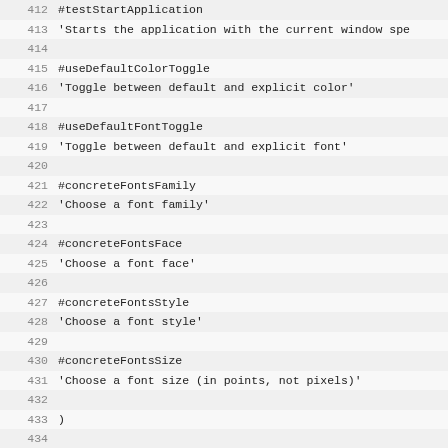Code listing lines 412-443 showing Smalltalk source code comments and method definitions including #testStartApplication, #useDefaultColorToggle, #useDefaultFontToggle, #concreteFontsFamily, #concreteFontsFace, #concreteFontsStyle, #concreteFontsSize, a modification comment, !UIPainter class methodsFor:'helpers'!, and convertString:aString maxLineSize:maxCharactersPerL method